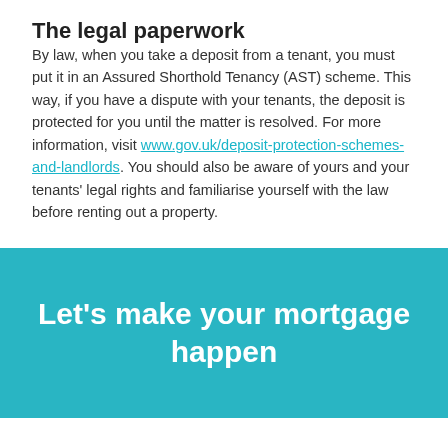The legal paperwork
By law, when you take a deposit from a tenant, you must put it in an Assured Shorthold Tenancy (AST) scheme. This way, if you have a dispute with your tenants, the deposit is protected for you until the matter is resolved. For more information, visit www.gov.uk/deposit-protection-schemes-and-landlords. You should also be aware of yours and your tenants' legal rights and familiarise yourself with the law before renting out a property.
Let's make your mortgage happen